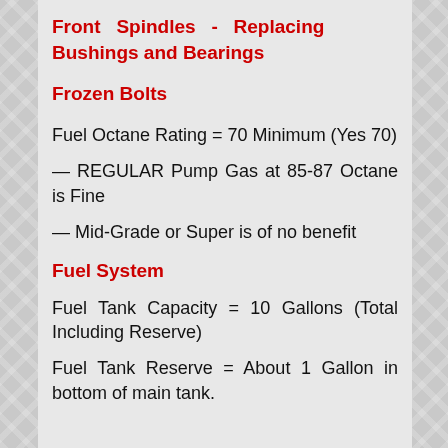Front Spindles - Replacing Bushings and Bearings
Frozen Bolts
Fuel Octane Rating = 70 Minimum (Yes 70)
— REGULAR Pump Gas at 85-87 Octane is Fine
— Mid-Grade or Super is of no benefit
Fuel System
Fuel Tank Capacity = 10 Gallons (Total Including Reserve)
Fuel Tank Reserve = About 1 Gallon in bottom of main tank.